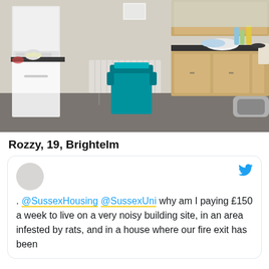[Figure (photo): Kitchen interior photo showing white appliances including a microwave, a teal/turquoise recycling bin in the center, wooden cabinets with dark countertops, a radiator, a colander and bowl on the counter, and cleaning products near a window]
Rozzy, 19, Brightelm
. @SussexHousing @SussexUni why am I paying £150 a week to live on a very noisy building site, in an area infested by rats, and in a house where our fire exit has been